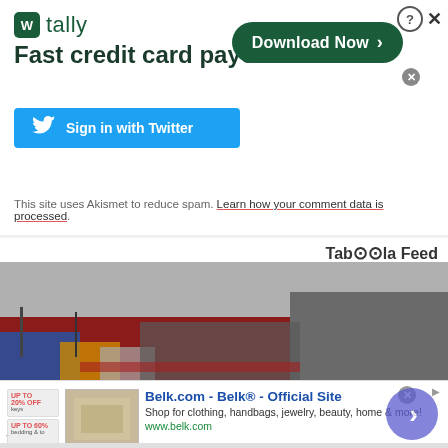[Figure (screenshot): Tally app advertisement banner with logo, tagline 'Fast credit card payoff', Download Now button, and a Sign in with Twitter button]
This site uses Akismet to reduce spam. Learn how your comment data is processed.
[Figure (logo): Taboola Feed logo]
[Figure (photo): Aerial photo of a harbor crowded with people and boats, water appears red, depicting a whaling scene in the Faroe Islands]
[Figure (screenshot): Belk.com advertisement - 'Belk® - Official Site', Shop for clothing, handbags, jewelry, beauty, home & more!, www.belk.com, with thumbnail images and a circular navigation button]